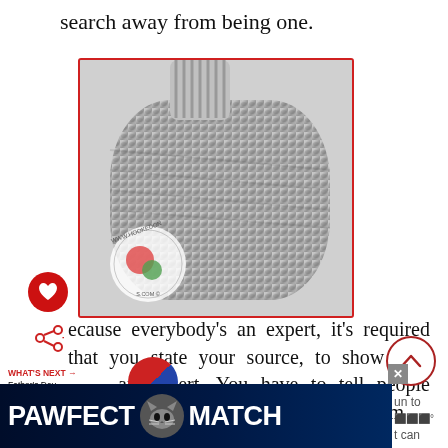search away from being one.
[Figure (photo): Black and white close-up photo of a knitted/crocheted item with watermark 'www.hookedonneedles.com']
ecause everybody's an expert, it's required that you state your source, to show how an expert. You have to tell people where you got your information, tell them
[Figure (advertisement): PAWFECT MATCH advertisement banner with cat icon on dark blue background]
WHAT'S NEXT → Father's Day Crochet Gift ...